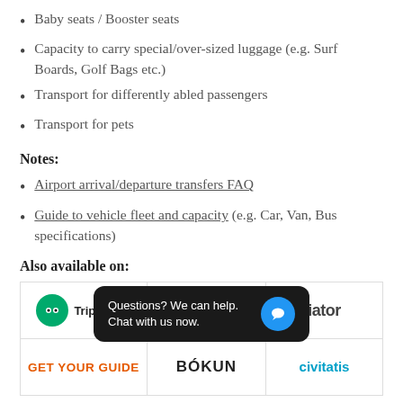Baby seats / Booster seats
Capacity to carry special/over-sized luggage (e.g. Surf Boards, Golf Bags etc.)
Transport for differently abled passengers
Transport for pets
Notes:
Airport arrival/departure transfers FAQ
Guide to vehicle fleet and capacity (e.g. Car, Van, Bus specifications)
Also available on:
[Figure (logo): Logo grid showing Tripadvisor, a middle logo, Viator, Get Your Guide, Bokun, and Civitatis]
Questions? We can help. Chat with us now.